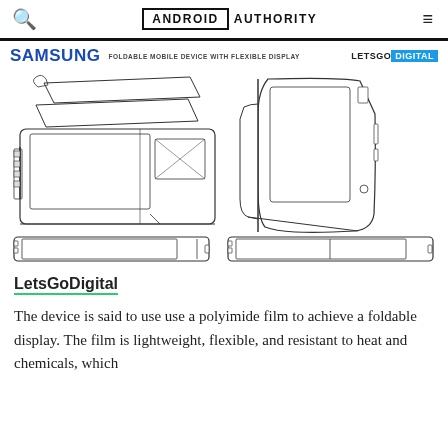ANDROID AUTHORITY
[Figure (engineering-diagram): Samsung foldable mobile device patent diagrams showing exploded view of layered flexible display components, folded device perspective view, and two flat device front views (one with screen division shown)]
LetsGoDigital
The device is said to use use a polyimide film to achieve a foldable display. The film is lightweight, flexible, and resistant to heat and chemicals, which